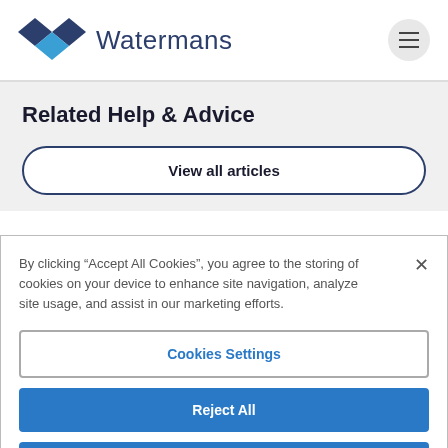[Figure (logo): Watermans logo with diamond shapes in dark blue and light blue, followed by the text 'Watermans']
Related Help & Advice
View all articles
By clicking “Accept All Cookies”, you agree to the storing of cookies on your device to enhance site navigation, analyze site usage, and assist in our marketing efforts.
Cookies Settings
Reject All
Accept All Cookies